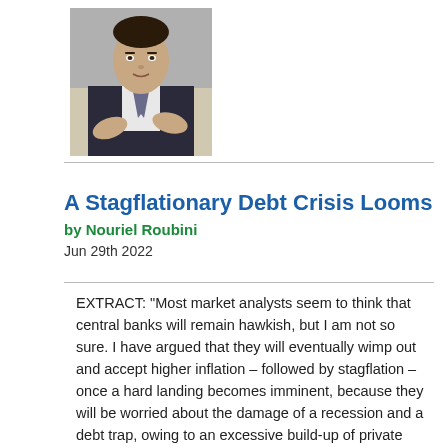[Figure (photo): Headshot photo of Nouriel Roubini, a man in a dark suit, seated, gesturing with hands, against a blurred background.]
A Stagflationary Debt Crisis Looms
by Nouriel Roubini
Jun 29th 2022
EXTRACT: "Most market analysts seem to think that central banks will remain hawkish, but I am not so sure. I have argued that they will eventually wimp out and accept higher inflation – followed by stagflation – once a hard landing becomes imminent, because they will be worried about the damage of a recession and a debt trap, owing to an excessive build-up of private and public liabilities after years of low interest rates." ----- "There is ample reason to believe that the next recession will be marked by a severe stagflationary debt crisis. As a share of global GDP, private and public debt levels are at their highest in the past...